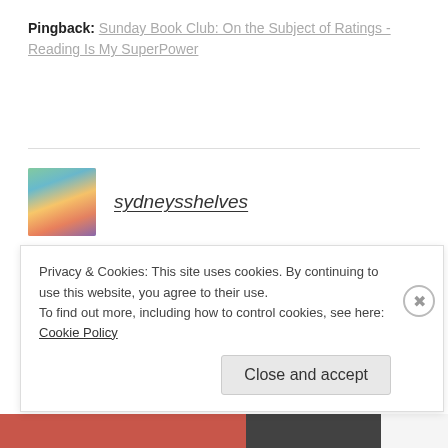Pingback: Sunday Book Club: On the Subject of Ratings - Reading Is My SuperPower
[Figure (photo): Avatar image for sydneysshelves with colorful book-themed graphic]
sydneysshelves
May 28, 2017 at 10:06 am
You do you girl! On some levels I agree. People rate books so differently. Some are more subjective and others are more objective. I try to stay in the middle. But it is hard...
Privacy & Cookies: This site uses cookies. By continuing to use this website, you agree to their use. To find out more, including how to control cookies, see here: Cookie Policy
Close and accept